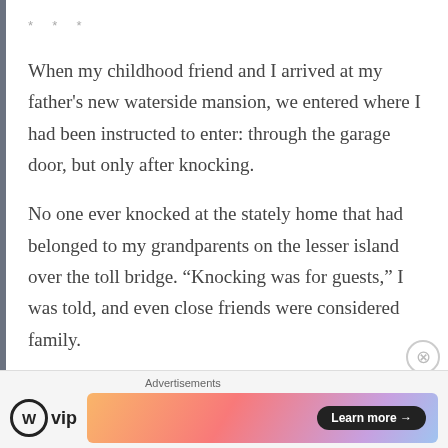* * *
When my childhood friend and I arrived at my father's new waterside mansion, we entered where I had been instructed to enter: through the garage door, but only after knocking.
No one ever knocked at the stately home that had belonged to my grandparents on the lesser island over the toll bridge. “Knocking was for guests,” I was told, and even close friends were considered family.
I knocked on the door inside the garage and found my new “step-grandparents” inside, seated around the
Advertisements
[Figure (logo): WordPress VIP logo with circle W icon and 'vip' text]
[Figure (infographic): Colorful gradient advertisement banner with 'Learn more →' button]